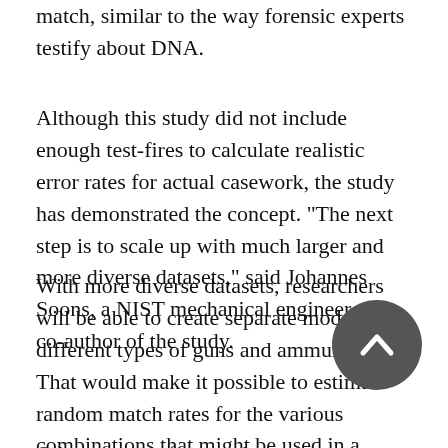match, similar to the way forensic experts testify about DNA.
Although this study did not include enough test-fires to calculate realistic error rates for actual casework, the study has demonstrated the concept. “The next step is to scale up with much larger and more diverse datasets,” said Johannes Soons, a NIST mechanical engineer and co-author of the study.
With more diverse datasets, researchers will be able to create separate models for different types of guns and ammunition. That would make it possible to estimate random match rates for the various combinations that might be used in a crime.
Other groups of researchers are working on ways to express the strength of evidence numerically, not only for firearms but also fingerprints and other types of pattern evidence. Many of those efforts are combining learning and artificial